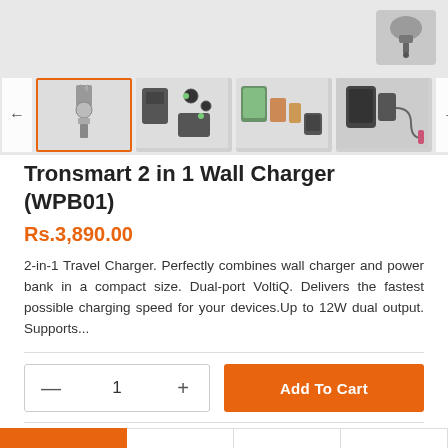[Figure (photo): Product image gallery for Tronsmart 2 in 1 Wall Charger (WPB01). Main image shows top of charger device. Thumbnails show: (1) exploded component view with orange border selected, (2) charger components layout, (3) charger with devices (tablet and phones), (4) charger plugged in with cable. Navigation arrows on left and right.]
Tronsmart 2 in 1 Wall Charger (WPB01)
Rs.3,890.00
2-in-1 Travel Charger. Perfectly combines wall charger and power bank in a compact size. Dual-port VoltiQ. Delivers the fastest possible charging speed for your devices.Up to 12W dual output. Supports...
1
Add To Cart